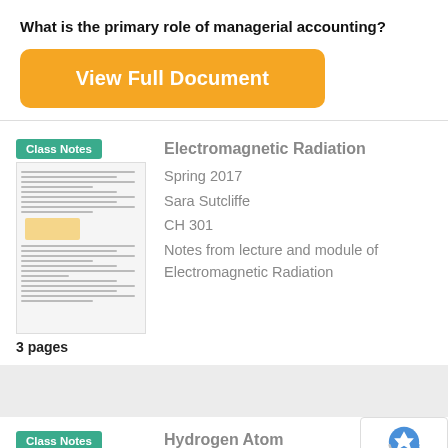What is the primary role of managerial accounting?
[Figure (other): Orange 'View Full Document' button]
[Figure (other): Class Notes thumbnail card for Electromagnetic Radiation, Spring 2017, Sara Sutcliffe, CH 301, Notes from lecture and module of Electromagnetic Radiation, 3 pages]
Electromagnetic Radiation
Spring 2017
Sara Sutcliffe
CH 301
Notes from lecture and module of Electromagnetic Radiation
3 pages
[Figure (other): Class Notes thumbnail card for Hydrogen Atom, Spring 2017]
Hydrogen Atom
Spring 2017